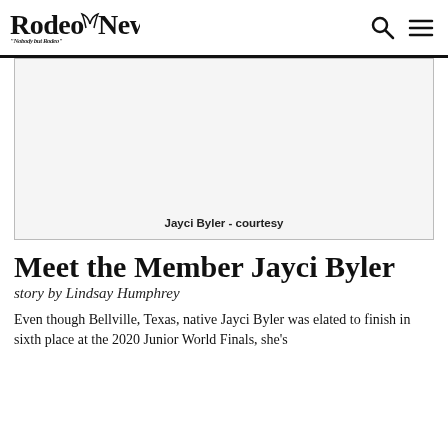Rodeo News - Nobody but Rodeo
[Figure (photo): Photo of Jayci Byler with caption 'Jayci Byler - courtesy']
Jayci Byler - courtesy
Meet the Member Jayci Byler
story by Lindsay Humphrey
Even though Bellville, Texas, native Jayci Byler was elated to finish in sixth place at the 2020 Junior World Finals, she's